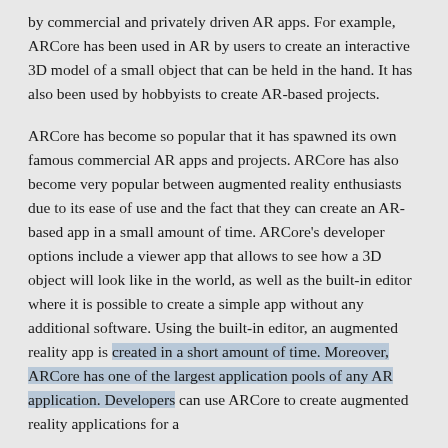by commercial and privately driven AR apps. For example, ARCore has been used in AR by users to create an interactive 3D model of a small object that can be held in the hand. It has also been used by hobbyists to create AR-based projects.

ARCore has become so popular that it has spawned its own famous commercial AR apps and projects. ARCore has also become very popular between augmented reality enthusiasts due to its ease of use and the fact that they can create an AR-based app in a small amount of time. ARCore's developer options include a viewer app that allows to see how a 3D object will look like in the world, as well as the built-in editor where it is possible to create a simple app without any additional software. Using the built-in editor, an augmented reality app is created in a short amount of time. Moreover, ARCore has one of the largest application pools of any AR application. Developers can use ARCore to create augmented reality applications for a